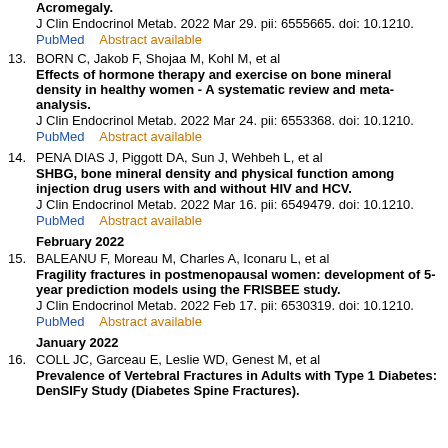Acromegaly.
J Clin Endocrinol Metab. 2022 Mar 29. pii: 6555665. doi: 10.1210.
PubMed    Abstract available
13. BORN C, Jakob F, Shojaa M, Kohl M, et al — Effects of hormone therapy and exercise on bone mineral density in healthy women - A systematic review and meta-analysis. J Clin Endocrinol Metab. 2022 Mar 24. pii: 6553368. doi: 10.1210. PubMed Abstract available
14. PENA DIAS J, Piggott DA, Sun J, Wehbeh L, et al — SHBG, bone mineral density and physical function among injection drug users with and without HIV and HCV. J Clin Endocrinol Metab. 2022 Mar 16. pii: 6549479. doi: 10.1210. PubMed Abstract available
February 2022
15. BALEANU F, Moreau M, Charles A, Iconaru L, et al — Fragility fractures in postmenopausal women: development of 5-year prediction models using the FRISBEE study. J Clin Endocrinol Metab. 2022 Feb 17. pii: 6530319. doi: 10.1210. PubMed Abstract available
January 2022
16. COLL JC, Garceau E, Leslie WD, Genest M, et al — Prevalence of Vertebral Fractures in Adults with Type 1 Diabetes: DenSIFy Study (Diabetes Spine Fractures).